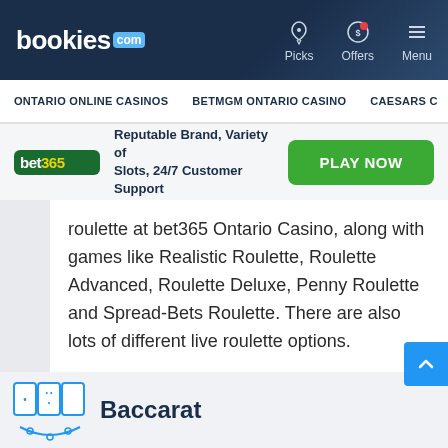bookies.com | Picks | Offers | Menu
ONTARIO ONLINE CASINOS  BETMGM ONTARIO CASINO  CAESARS C
Reputable Brand, Variety of Slots, 24/7 Customer Support  PLAY NOW
roulette at bet365 Ontario Casino, along with games like Realistic Roulette, Roulette Advanced, Roulette Deluxe, Penny Roulette and Spread-Bets Roulette. There are also lots of different live roulette options.
Baccarat